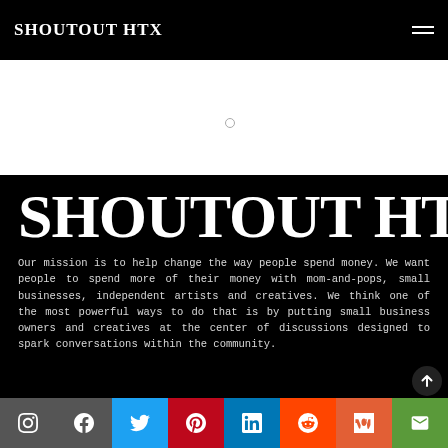SHOUTOUT HTX
SHOUTOUT HTX
Our mission is to help change the way people spend money. We want people to spend more of their money with mom-and-pops, small businesses, independent artists and creatives. We think one of the most powerful ways to do that is by putting small business owners and creatives at the center of discussions designed to spark conversations within the community.
Instagram Facebook Twitter Pinterest LinkedIn Reddit Mix Email social links